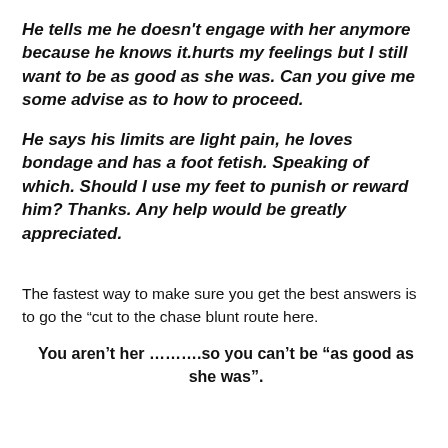He tells me he doesn't engage with her anymore because he knows it.hurts my feelings but I still want to be as good as she was. Can you give me some advise as to how to proceed.
He says his limits are light pain, he loves bondage and has a foot fetish. Speaking of which. Should I use my feet to punish or reward him? Thanks. Any help would be greatly appreciated.
The fastest way to make sure you get the best answers is to go the “cut to the chase blunt route here.
You aren’t her ……….so you can’t be “as good as she was”.